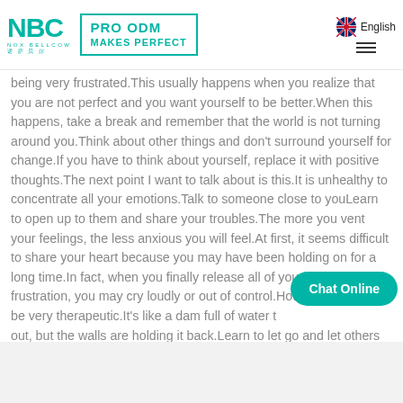NBC NOX BELLCOW | PRO ODM MAKES PERFECT | English
being very frustrated.This usually happens when you realize that you are not perfect and you want yourself to be better.When this happens, take a break and remember that the world is not turning around you.Think about other things and don't surround yourself for change.If you have to think about yourself, replace it with positive thoughts.The next point I want to talk about is this.It is unhealthy to concentrate all your emotions.Talk to someone close to youLearn to open up to them and share your troubles.The more you vent your feelings, the less anxious you will feel.At first, it seems difficult to share your heart because you may have been holding on for a long time.In fact, when you finally release all of your repressed frustration, you may cry loudly or out of control.However, this may be very therapeutic.It's like a dam full of water that wants to burst out, but the walls are holding it back.Learn to let go and let others